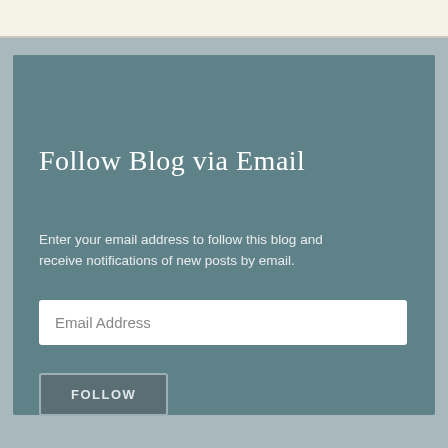Follow Blog via Email
Enter your email address to follow this blog and receive notifications of new posts by email.
Email Address
FOLLOW